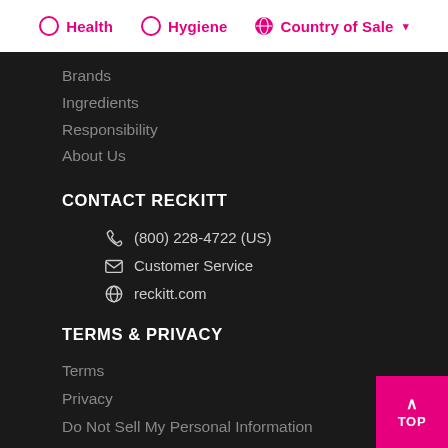Health   Hygiene   Country of Sale
Brands
Ingredients
Responsibility
About Us
CONTACT RECKITT
(800) 228-4722 (US)
Customer Service
reckitt.com
TERMS & PRIVACY
Terms
Privacy
Do Not Sell My Personal Information